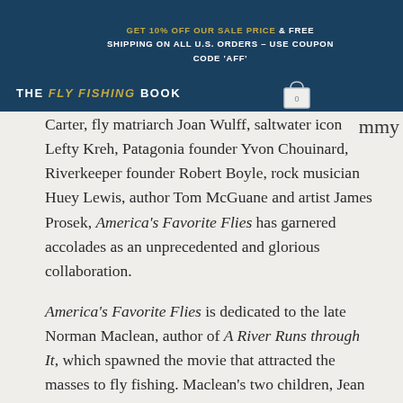GET 10% OFF OUR SALE PRICE & FREE SHIPPING ON ALL U.S. ORDERS – USE COUPON CODE 'AFF'
THE Fly Fishing BOOK
Carter, fly matriarch Joan Wulff, saltwater icon Lefty Kreh, Patagonia founder Yvon Chouinard, Riverkeeper founder Robert Boyle, rock musician Huey Lewis, author Tom McGuane and artist James Prosek, America's Favorite Flies has garnered accolades as an unprecedented and glorious collaboration.
America's Favorite Flies is dedicated to the late Norman Maclean, author of A River Runs through It, which spawned the movie that attracted the masses to fly fishing. Maclean's two children, Jean Snyder